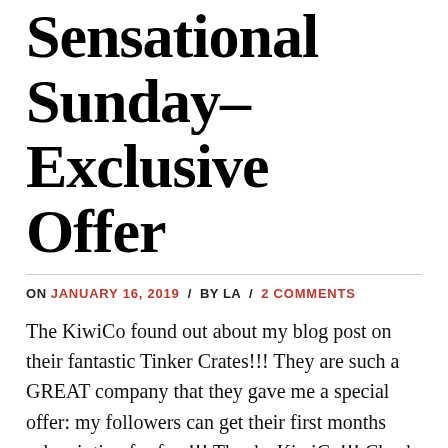Sensational Sunday–Exclusive Offer
ON JANUARY 16, 2019 / BY LA / 2 COMMENTS
The KiwiCo found out about my blog post on their fantastic Tinker Crates!!! They are such a GREAT company that they gave me a special offer: my followers can get their first months subscription for free!!! Thanks KiwiCo!!! Check out the link for a free month when you